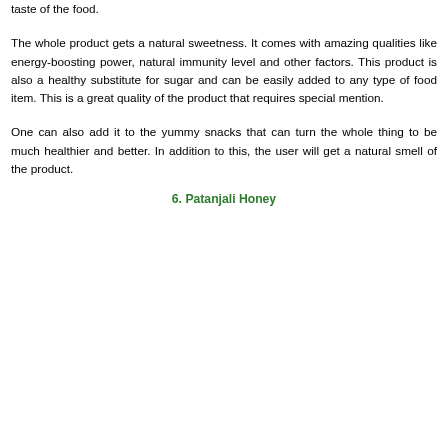taste of the food.
The whole product gets a natural sweetness. It comes with amazing qualities like energy-boosting power, natural immunity level and other factors. This product is also a healthy substitute for sugar and can be easily added to any type of food item. This is a great quality of the product that requires special mention.
One can also add it to the yummy snacks that can turn the whole thing to be much healthier and better. In addition to this, the user will get a natural smell of the product.
6. Patanjali Honey